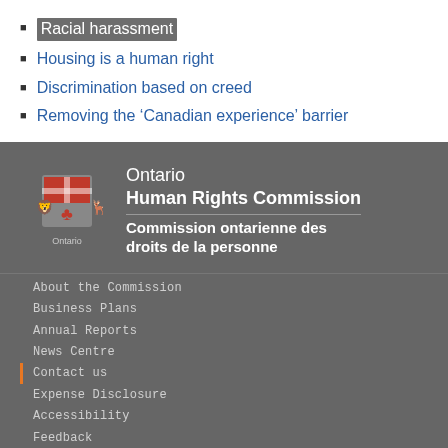Racial harassment
Housing is a human right
Discrimination based on creed
Removing the 'Canadian experience' barrier
[Figure (logo): Ontario Human Rights Commission / Commission ontarienne des droits de la personne logo with Ontario coat of arms]
About the Commission | Business Plans | Annual Reports | News Centre | Contact us | Expense Disclosure | Accessibility | Feedback | Privacy Statement | © Queen's Printer for Ontario | Open Data